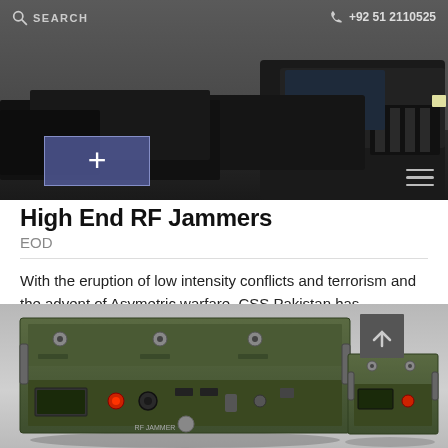[Figure (screenshot): Website header showing a convoy of dark SUVs on a road. Includes a search icon and text 'SEARCH' in top left, phone number '+92 51 2110525' in top right, a blue/purple cross/plus button overlay in the center-bottom of the image, and a hamburger menu icon in the lower right.]
High End RF Jammers
EOD
With the eruption of low intensity conflicts and terrorism and the advent of Asymetric warfare, CSS Pakistan has...
[Figure (photo): Photo of two military-grade green RF jammer devices. A larger rack-mounted unit is on the left with front panel controls, connectors, and indicators. A smaller portable unit is on the right. Background is light grey. A dark scroll-to-top arrow button is visible in the lower right of the image.]